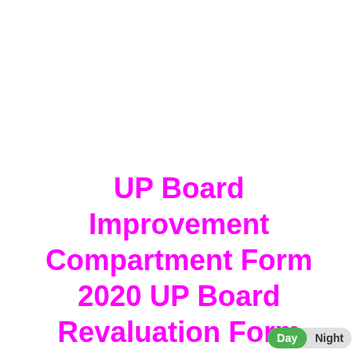UP Board Improvement Compartment Form 2020 UP Board Revaluation Form